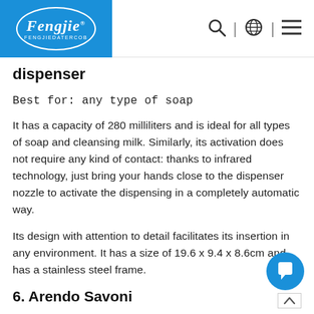Fengjie | [logo header with search, globe, and menu icons]
dispenser
Best for: any type of soap
It has a capacity of 280 milliliters and is ideal for all types of soap and cleansing milk. Similarly, its activation does not require any kind of contact: thanks to infrared technology, just bring your hands close to the dispenser nozzle to activate the dispensing in a completely automatic way.
Its design with attention to detail facilitates its insertion in any environment. It has a size of 19.6 x 9.4 x 8.6cm and has a stainless steel frame.
6. Arendo Savoni
Best for: capacity
With its 340 milliliter capacity, motion sensor hand sanitizer dispenser does not require to be